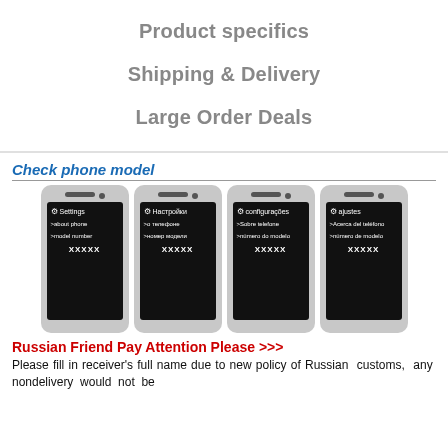Product specifics
Shipping & Delivery
Large Order Deals
Check phone model
[Figure (illustration): Four smartphone screens showing Settings > About Phone > Model Number paths in English, Russian, Portuguese, and Spanish, each displaying XXXXX as the model number placeholder.]
Russian Friend Pay Attention Please >>>
Please fill in receiver's full name due to new policy of Russian customs, any nondelivery would not be